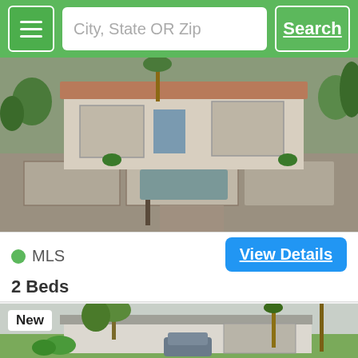City, State OR Zip | Search
[Figure (photo): Aerial/street view of a residential property in Cathedral City, CA with stone wall landscaping and two-car garage]
MLS
2 Beds
1 Bath
Cathedral City, CA 92234
[Figure (photo): Street view of a ranch-style residential home with palm trees and green lawn, tagged as New listing]